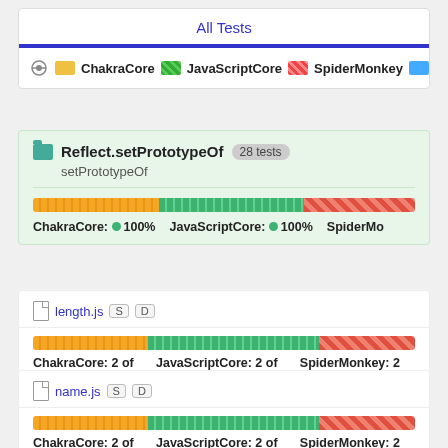All Tests
ChakraCore  JavaScriptCore  SpiderMonkey  V
Reflect.setPrototypeOf 28 tests setPrototypeOf
[Figure (bar-chart): Reflect.setPrototypeOf test results]
ChakraCore: 100%  JavaScriptCore: 100%  SpiderMo
length.js S D
[Figure (bar-chart): length.js test results]
ChakraCore: 2 of 2  JavaScriptCore: 2 of 2  SpiderMonkey: 2 of
name.js S D
[Figure (bar-chart): name.js test results]
ChakraCore: 2 of 2  JavaScriptCore: 2 of 2  SpiderMonkey: 2 of